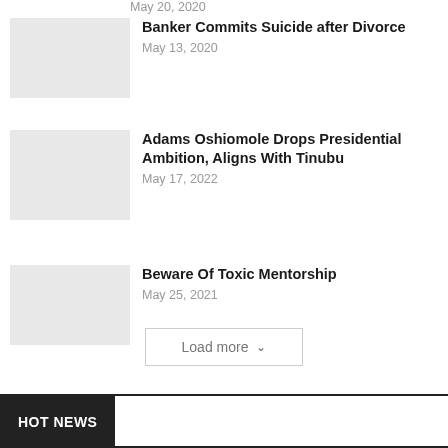May 20, 2020
Banker Commits Suicide after Divorce — May 13, 2020
Adams Oshiomole Drops Presidential Ambition, Aligns With Tinubu — May 17, 2022
Beware Of Toxic Mentorship — May 25, 2021
Load more
HOT NEWS